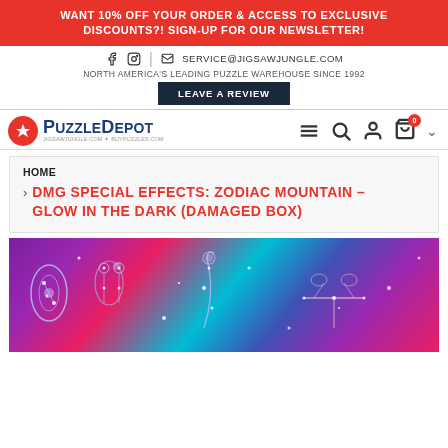WANT 10% OFF YOUR ORDER & ACCESS TO EXCLUSIVE DISCOUNTS?! SIGN-UP FOR OUR NEWSLETTER!
SERVICE@JIGSAWJUNGLE.COM
NORTH AMERICA'S LEADING PUZZLE WAREHOUSE SINCE 1992
LEAVE A REVIEW
[Figure (logo): PuzzleDepot logo with maple leaf icon, text reads PUZZLEDEPOT JIGSAWJUNGLE.COM + BUYPUZZLES.COM]
HOME
DMG SPECIAL EFFECTS: ZODIAC MOUNTAIN – GLOW IN THE DARK (DAMAGED BOX)
[Figure (photo): Product photo of a glow-in-the-dark puzzle showing zodiac constellation signs on a colorful purple, pink, teal background with glowing star patterns]